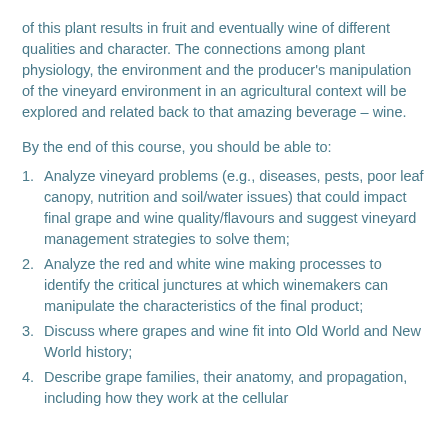of this plant results in fruit and eventually wine of different qualities and character. The connections among plant physiology, the environment and the producer's manipulation of the vineyard environment in an agricultural context will be explored and related back to that amazing beverage – wine.
By the end of this course, you should be able to:
Analyze vineyard problems (e.g., diseases, pests, poor leaf canopy, nutrition and soil/water issues) that could impact final grape and wine quality/flavours and suggest vineyard management strategies to solve them;
Analyze the red and white wine making processes to identify the critical junctures at which winemakers can manipulate the characteristics of the final product;
Discuss where grapes and wine fit into Old World and New World history;
Describe grape families, their anatomy, and propagation, including how they work at the cellular